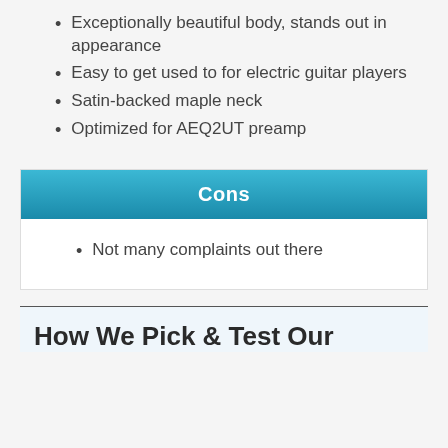Exceptionally beautiful body, stands out in appearance
Easy to get used to for electric guitar players
Satin-backed maple neck
Optimized for AEQ2UT preamp
Cons
Not many complaints out there
How We Pick & Test Our